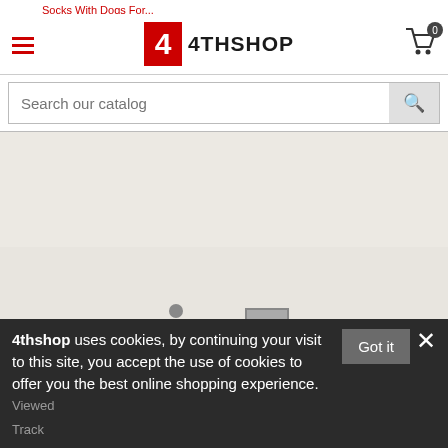Socks With Dogs For...
[Figure (logo): 4THSHOP logo with red square containing white '4' and text '4THSHOP']
Search our catalog
GET IN TOUCH +
MY ACCOUNT +
4thshop uses cookies, by continuing your visit to this site, you accept the use of cookies to offer you the best online shopping experience. Viewed Track